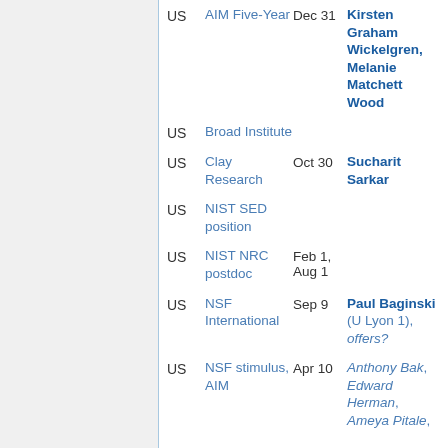| Country | Organization | Date | Names |
| --- | --- | --- | --- |
| US | AIM Five-Year | Dec 31 | Kirsten Graham Wickelgren, Melanie Matchett Wood |
| US | Broad Institute |  |  |
| US | Clay Research | Oct 30 | Sucharit Sarkar |
| US | NIST SED position |  |  |
| US | NIST NRC postdoc | Feb 1, Aug 1 |  |
| US | NSF International | Sep 9 | Paul Baginski (U Lyon 1), offers? |
| US | NSF stimulus, AIM | Apr 10 | Anthony Bak, Edward Herman, Ameya Pitale, |